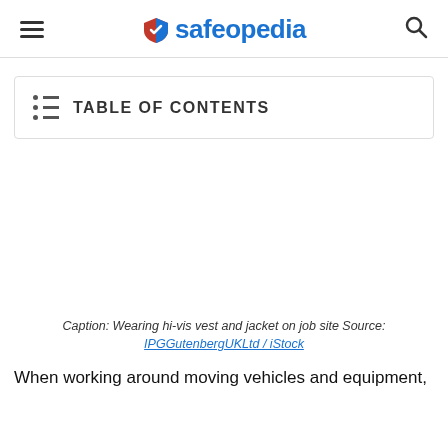safeopedia
TABLE OF CONTENTS
[Figure (photo): Blank/white image area representing a photo of hi-vis vest and jacket on job site]
Caption: Wearing hi-vis vest and jacket on job site Source: IPGGutenbergUKLtd / iStock
When working around moving vehicles and equipment,